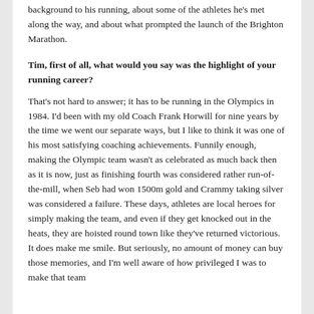background to his running, about some of the athletes he's met along the way, and about what prompted the launch of the Brighton Marathon.
Tim, first of all, what would you say was the highlight of your running career?
That's not hard to answer; it has to be running in the Olympics in 1984. I'd been with my old Coach Frank Horwill for nine years by the time we went our separate ways, but I like to think it was one of his most satisfying coaching achievements. Funnily enough, making the Olympic team wasn't as celebrated as much back then as it is now, just as finishing fourth was considered rather run-of-the-mill, when Seb had won 1500m gold and Crammy taking silver was considered a failure. These days, athletes are local heroes for simply making the team, and even if they get knocked out in the heats, they are hoisted round town like they've returned victorious. It does make me smile. But seriously, no amount of money can buy those memories, and I'm well aware of how privileged I was to make that team